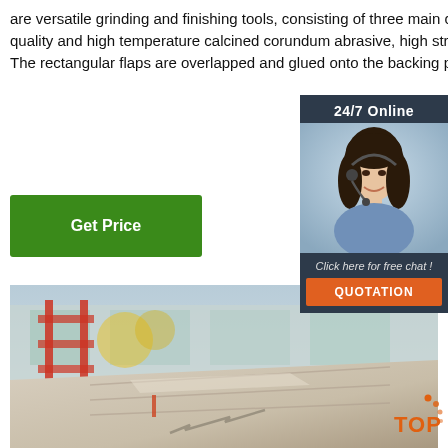are versatile grinding and finishing tools, consisting of three main components: using high-quality and high temperature calcined corundum abrasive, high strength backing ad adhesive. The rectangular flaps are overlapped and glued onto the backing plate.
Get Price
[Figure (infographic): 24/7 Online chat widget with woman wearing headset, 'Click here for free chat!' text and orange QUOTATION button]
[Figure (photo): Industrial workshop floor with metal plates and construction scaffolding in background]
[Figure (logo): TOP logo badge with orange dots]